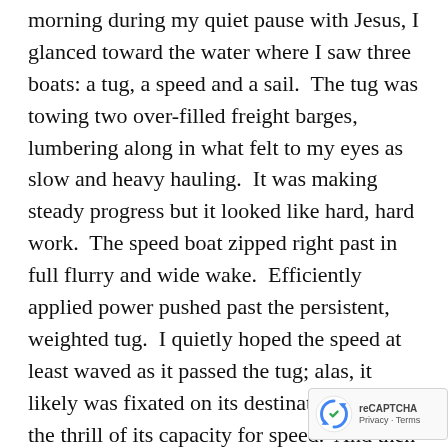morning during my quiet pause with Jesus, I glanced toward the water where I saw three boats: a tug, a speed and a sail.  The tug was towing two over-filled freight barges, lumbering along in what felt to my eyes as slow and heavy hauling.  It was making steady progress but it looked like hard, hard work.  The speed boat zipped right past in full flurry and wide wake.  Efficiently applied power pushed past the persistent, weighted tug.  I quietly hoped the speed at least waved as it passed the tug; alas, it likely was fixated on its destination or just the thrill of its capacity for speed.  And then there was the sailboat, floating off in the distance, sail poised, inviting the breeze.  All three heading in the same direction, and yet beyond the tug and the speed, the sail appeared expectant, willing to live on the breeze that propelled it along the...